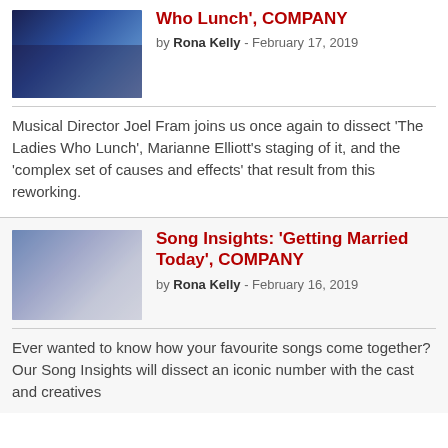[Figure (photo): Thumbnail image of a theatrical performance scene with blue lighting]
Who Lunch', COMPANY
by Rona Kelly - February 17, 2019
Musical Director Joel Fram joins us once again to dissect 'The Ladies Who Lunch', Marianne Elliott's staging of it, and the 'complex set of causes and effects' that result from this reworking.
[Figure (photo): Thumbnail image of two male actors in a theatrical scene, one handing something to the other]
Song Insights: 'Getting Married Today', COMPANY
by Rona Kelly - February 16, 2019
Ever wanted to know how your favourite songs come together? Our Song Insights will dissect an iconic number with the cast and creatives